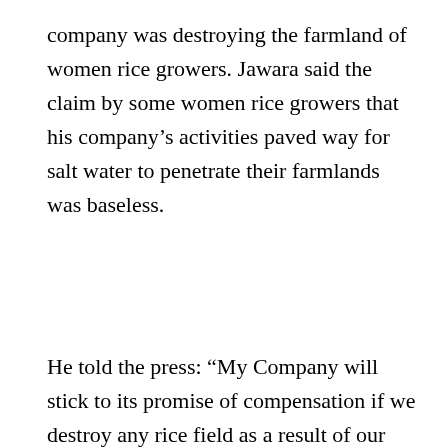company was destroying the farmland of women rice growers. Jawara said the claim by some women rice growers that his company's activities paved way for salt water to penetrate their farmlands was baseless.
He told the press: “My Company will stick to its promise of compensation if we destroy any rice field as a result of our